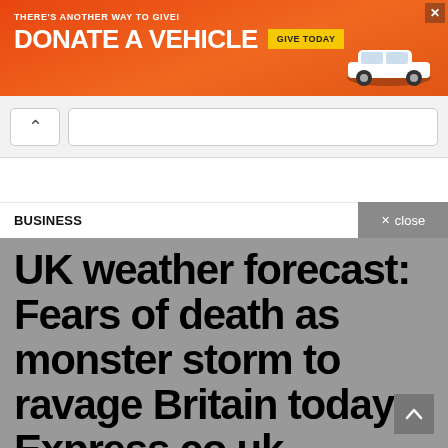[Figure (screenshot): Orange advertisement banner: 'THERE'S ANOTHER WAY TO GIVE! DONATE A VEHICLE GIVE TODAY' with car image and X close button]
[Figure (screenshot): Browser navigation UI: back button (chevron up) and URL bar area]
BUSINESS
UK weather forecast: Fears of death as monster storm to ravage Britain today – Express.co.uk, Express.co.uk